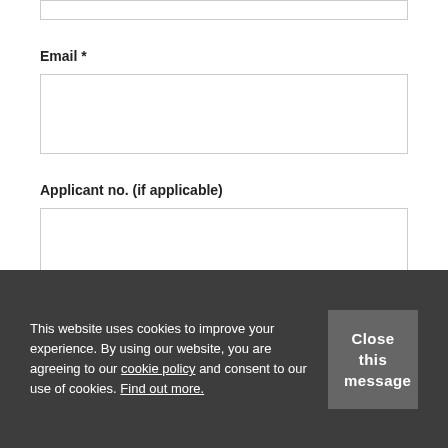[partial input box at top]
Email *
[email input box]
Applicant no. (if applicable)
[applicant no. input box]
This website uses cookies to improve your experience. By using our website, you are agreeing to our cookie policy and consent to our use of cookies. Find out more.
Close this message